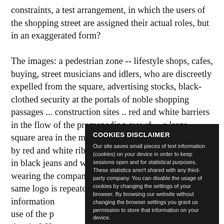constraints, a test arrangement, in which the users of the shopping street are assigned their actual roles, but in an exaggerated form?

The images: a pedestrian zone -- lifestyle shops, cafes, buying, street musicians and idlers, who are discreetly expelled from the square, advertising stocks, black-clothed security at the portals of noble shopping passages ... construction sites .. red and white barriers in the flow of the promenading crowd ... a large square area in the middle of a city square is blocked by red and white ribbons, flanked by security guards in black jeans and white T-shirts. Friendly employees wearing the company logo address passers-by; the same logo is repeated at an information... use of the p... the city? H... payment do... permission... this survey... purchase o... to determi... profitability." [1] What is important is that the picture is right. The
COOKIES DISCLAIMER
Our site saves small pieces of text information (cookies) on your device in order to keep sessions open and for statistical purposes. These statistics aren't shared with any third-party company. You can disable the usage of cookies by changing the settings of your browser. By browsing our website without changing the browser settings you grant us permission to store that information on your device.
I AGREE